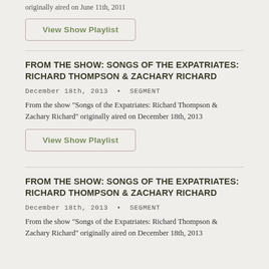originally aired on June 11th, 2011
View Show Playlist
FROM THE SHOW: SONGS OF THE EXPATRIATES: RICHARD THOMPSON & ZACHARY RICHARD
December 18th, 2013 • SEGMENT
From the show "Songs of the Expatriates: Richard Thompson & Zachary Richard" originally aired on December 18th, 2013
View Show Playlist
FROM THE SHOW: SONGS OF THE EXPATRIATES: RICHARD THOMPSON & ZACHARY RICHARD
December 18th, 2013 • SEGMENT
From the show "Songs of the Expatriates: Richard Thompson & Zachary Richard" originally aired on December 18th, 2013